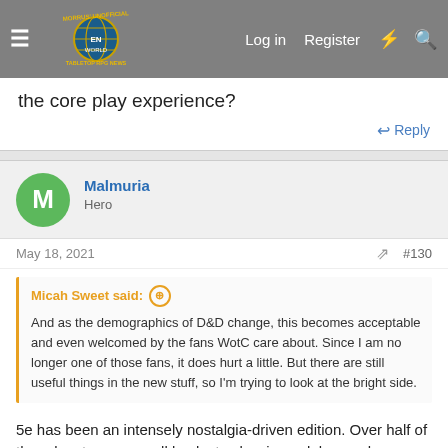Morrus' Unofficial Tabletop RPG News — Log in | Register
the core play experience?
Reply
Malmuria
Hero
May 18, 2021  #130
Micah Sweet said: ⊕

And as the demographics of D&D change, this becomes acceptable and even welcomed by the fans WotC care about. Since I am no longer one of those fans, it does hurt a little. But there are still useful things in the new stuff, so I'm trying to look at the bright side.
5e has been an intensely nostalgia-driven edition. Over half of the adventures are call backs to classic modules, and